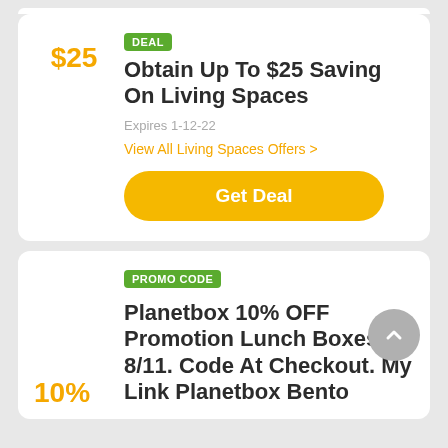DEAL
Obtain Up To $25 Saving On Living Spaces
Expires 1-12-22
View All Living Spaces Offers >
$25
Get Deal
PROMO CODE
Planetbox 10% OFF Promotion Lunch Boxes Til 8/11. Code At Checkout. My Link Planetbox Bento
10%